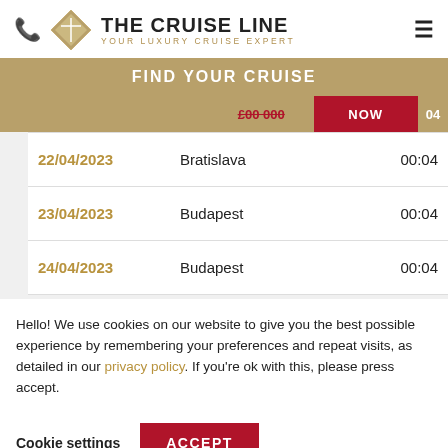THE CRUISE LINE — YOUR LUXURY CRUISE EXPERT
FIND YOUR CRUISE
| Date | Port | Time |
| --- | --- | --- |
| 22/04/2023 | Bratislava | 00:04 |
| 23/04/2023 | Budapest | 00:04 |
| 24/04/2023 | Budapest | 00:04 |
Hello! We use cookies on our website to give you the best possible experience by remembering your preferences and repeat visits, as detailed in our privacy policy. If you're ok with this, please press accept.
Cookie settings
ACCEPT